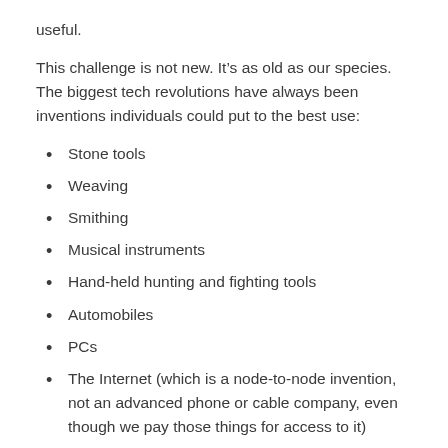useful.
This challenge is not new. It’s as old as our species. The biggest tech revolutions have always been inventions individuals could put to the best use:
Stone tools
Weaving
Smithing
Musical instruments
Hand-held hunting and fighting tools
Automobiles
PCs
The Internet (which is a node-to-node invention, not an advanced phone or cable company, even though we pay those things for access to it)